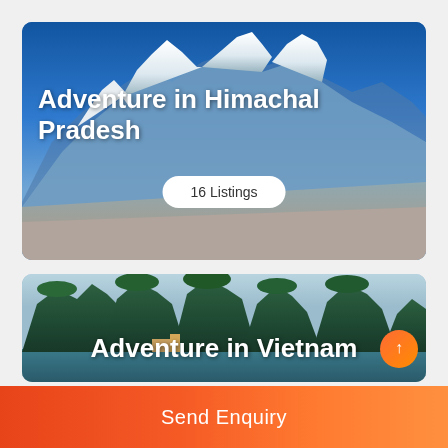[Figure (photo): Adventure in Himachal Pradesh - snow-capped mountain landscape with blue sky]
Adventure in Himachal Pradesh
16 Listings
[Figure (photo): Adventure in Vietnam - lush green karst mountains and water]
Adventure in Vietnam
Send Enquiry